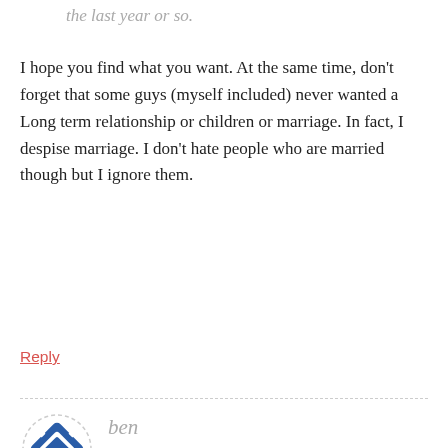the last year or so.
I hope you find what you want. At the same time, don't forget that some guys (myself included) never wanted a Long term relationship or children or marriage. In fact, I despise marriage. I don't hate people who are married though but I ignore them.
Reply
[Figure (illustration): Circular avatar icon with dashed border, containing a blue diamond/compass-style icon on white background]
ben
SEPTEMBER 14, 2017 AT 10:40 AM
Marriage today isn't really marriage. The deal has changed so much that it's nothing like the old contract. Biblical marriage or traditional marriage are totally different from modern marriage, biblical and traditional